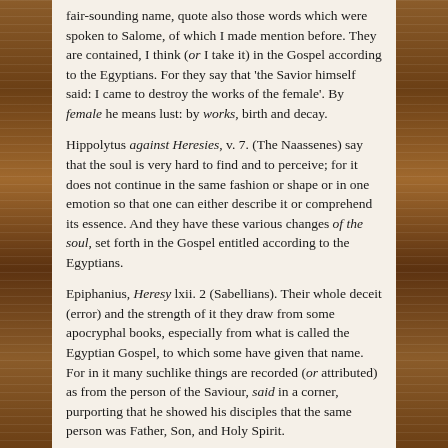fair-sounding name, quote also those words which were spoken to Salome, of which I made mention before. They are contained, I think (or I take it) in the Gospel according to the Egyptians. For they say that 'the Savior himself said: I came to destroy the works of the female'. By female he means lust: by works, birth and decay.
Hippolytus against Heresies, v. 7. (The Naassenes) say that the soul is very hard to find and to perceive; for it does not continue in the same fashion or shape or in one emotion so that one can either describe it or comprehend its essence. And they have these various changes of the soul, set forth in the Gospel entitled according to the Egyptians.
Epiphanius, Heresy lxii. 2 (Sabellians). Their whole deceit (error) and the strength of it they draw from some apocryphal books, especially from what is called the Egyptian Gospel, to which some have given that name. For in it many suchlike things are recorded (or attributed) as from the person of the Saviour, said in a corner, purporting that he showed his disciples that the same person was Father, Son, and Holy Spirit.